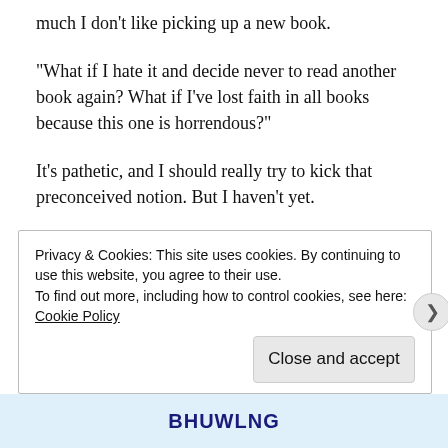much I don't like picking up a new book.
“What if I hate it and decide never to read another book again? What if I’ve lost faith in all books because this one is horrendous?”
It’s pathetic, and I should really try to kick that preconceived notion. But I haven’t yet.
I almost always start a book extremely skeptical. I didn’t like fantasy before March of this year, mind you.
Privacy & Cookies: This site uses cookies. By continuing to use this website, you agree to their use.
To find out more, including how to control cookies, see here: Cookie Policy
Close and accept